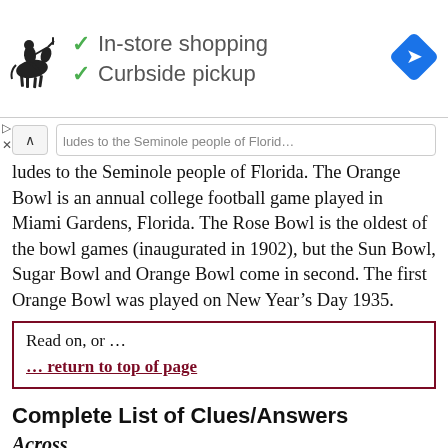[Figure (infographic): Advertisement banner with polo horse logo, checkmarks for 'In-store shopping' and 'Curbside pickup', and a blue navigation diamond icon on the right.]
ludes to the Seminole people of Florida. The Orange Bowl is an annual college football game played in Miami Gardens, Florida. The Rose Bowl is the oldest of the bowl games (inaugurated in 1902), but the Sun Bowl, Sugar Bowl and Orange Bowl come in second. The first Orange Bowl was played on New Year's Day 1935.
Read on, or ...
... return to top of page
Complete List of Clues/Answers
Across
1 "Play it cool" : ACT NATURAL
11 A cup's 48: Abbr. : TSPS
15 One of a set of faddish toys that at its peak made up 10%